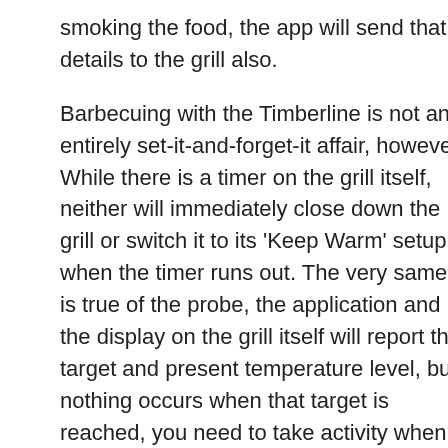smoking the food, the app will send that details to the grill also.
Barbecuing with the Timberline is not an entirely set-it-and-forget-it affair, however. While there is a timer on the grill itself, neither will immediately close down the grill or switch it to its ‘Keep Warm’ setup when the timer runs out. The very same is true of the probe, the application and the display on the grill itself will report the target and present temperature level, but nothing occurs when that target is reached, you need to take activity when the cook mores than.
Smoking
Timberline executes faultlessly for all low and